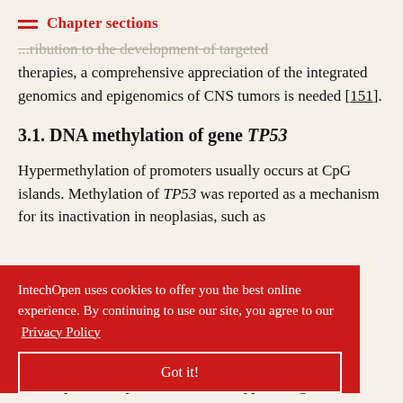Chapter sections
...ribution to the development of targeted therapies, a comprehensive appreciation of the integrated genomics and epigenomics of CNS tumors is needed [151].
3.1. DNA methylation of gene TP53
Hypermethylation of promoters usually occurs at CpG islands. Methylation of TP53 was reported as a mechanism for its inactivation in neoplasias, such as ... myeloma, ...stases of ...region of ...nd, ...oduce a ...regulation of transcription compared to a tumor suppressor gene
IntechOpen uses cookies to offer you the best online experience. By continuing to use our site, you agree to our Privacy Policy
Got it!